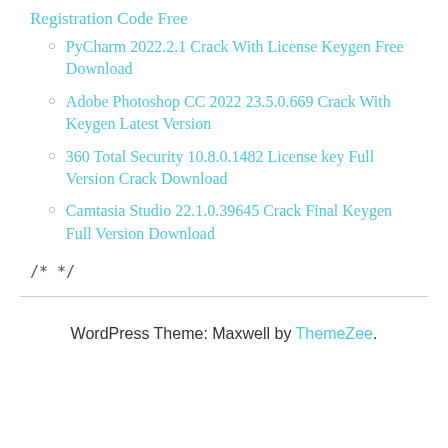Registration Code Free
PyCharm 2022.2.1 Crack With License Keygen Free Download
Adobe Photoshop CC 2022 23.5.0.669 Crack With Keygen Latest Version
360 Total Security 10.8.0.1482 License key Full Version Crack Download
Camtasia Studio 22.1.0.39645 Crack Final Keygen Full Version Download
/* */
WordPress Theme: Maxwell by ThemeZee.